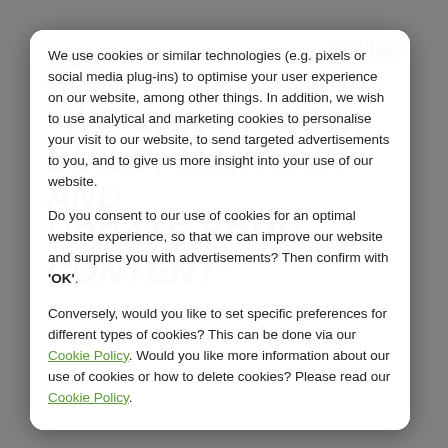We use cookies or similar technologies (e.g. pixels or social media plug-ins) to optimise your user experience on our website, among other things. In addition, we wish to use analytical and marketing cookies to personalise your visit to our website, to send targeted advertisements to you, and to give us more insight into your use of our website.
Do you consent to our use of cookies for an optimal website experience, so that we can improve our website and surprise you with advertisements? Then confirm with 'OK'.
Conversely, would you like to set specific preferences for different types of cookies? This can be done via our Cookie Policy. Would you like more information about our use of cookies or how to delete cookies? Please read our Cookie Policy.
OK